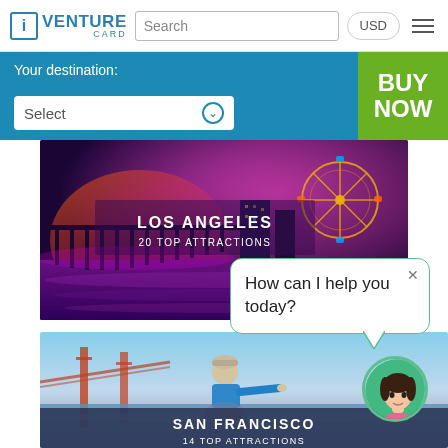iVENTURE CARD | Search | USD
Your destination:
Select
BUY NOW
[Figure (photo): Los Angeles pier at night with purple and pink lighting, ferris wheel visible]
LOS ANGELES
20 TOP ATTRACTIONS
How can I help you today?
[Figure (photo): Child in blue shirt and cap pointing, San Francisco bridge in background]
SAN FRANCISCO
14 TOP ATTRACTIONS